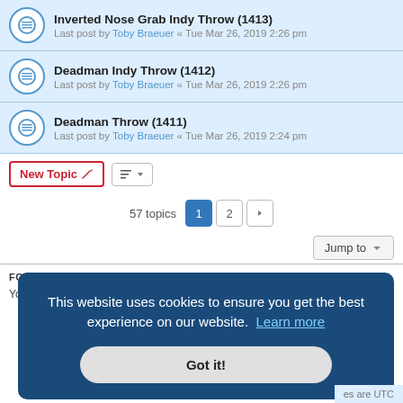Inverted Nose Grab Indy Throw (1413) — Last post by Toby Braeuer « Tue Mar 26, 2019 2:26 pm
Deadman Indy Throw (1412) — Last post by Toby Braeuer « Tue Mar 26, 2019 2:26 pm
Deadman Throw (1411) — Last post by Toby Braeuer « Tue Mar 26, 2019 2:24 pm
New Topic  [sort button]  57 topics  1  2  >
Jump to
FORUM PERMISSIONS
You cannot post new topics in this forum
This website uses cookies to ensure you get the best experience on our website. Learn more
Got it!
es are UTC